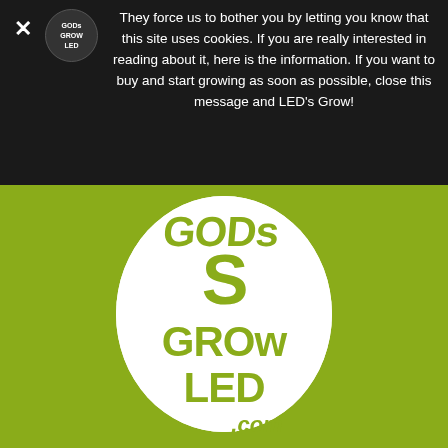They force us to bother you by letting you know that this site uses cookies. If you are really interested in reading about it, here is the information. If you want to buy and start growing as soon as possible, close this message and LED's Grow!
[Figure (logo): GODs GROW LED .com circular typographic logo on olive/yellow-green background]